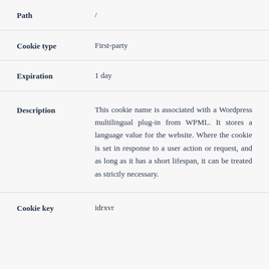| Field | Value |
| --- | --- |
| Path | / |
| Cookie type | First-party |
| Expiration | 1 day |
| Description | This cookie name is associated with a Wordpress multilingual plug-in from WPML. It stores a language value for the website. Where the cookie is set in response to a user action or request, and as long as it has a short lifespan, it can be treated as strictly necessary. |
| Cookie key | idrxvr |